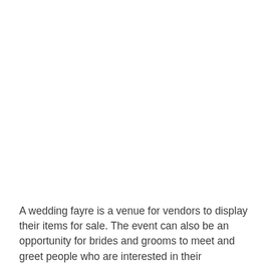A wedding fayre is a venue for vendors to display their items for sale. The event can also be an opportunity for brides and grooms to meet and greet people who are interested in their